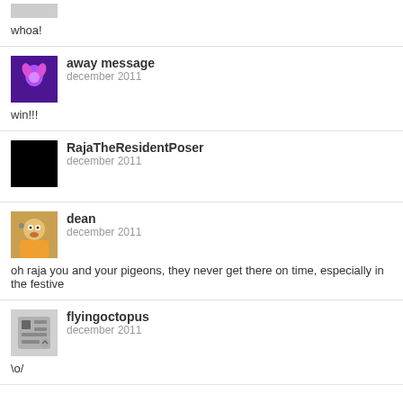whoa!
away message
december 2011
win!!!
RajaTheResidentPoser
december 2011
dean
december 2011
oh raja you and your pigeons, they never get there on time, especially in the festive
flyingoctopus
december 2011
\o/